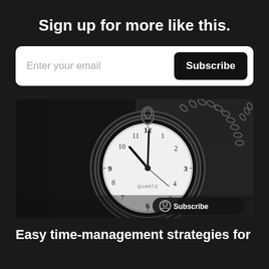Sign up for more like this.
Enter your email  Subscribe
[Figure (photo): Black and white close-up photo of a vintage pocket watch with chain, showing clock face with numbers and ornate hands. A 'Subscribe' button overlay appears in the bottom right corner.]
Easy time-management strategies for